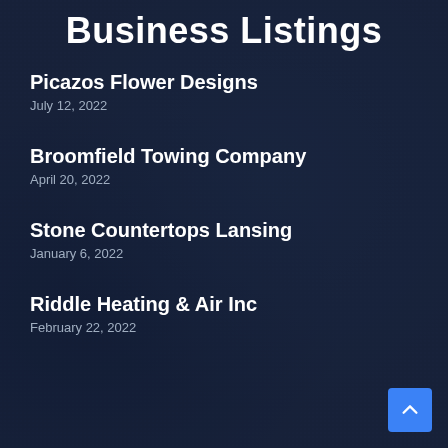Business Listings
Picazos Flower Designs
July 12, 2022
Broomfield Towing Company
April 20, 2022
Stone Countertops Lansing
January 6, 2022
Riddle Heating & Air Inc
February 22, 2022